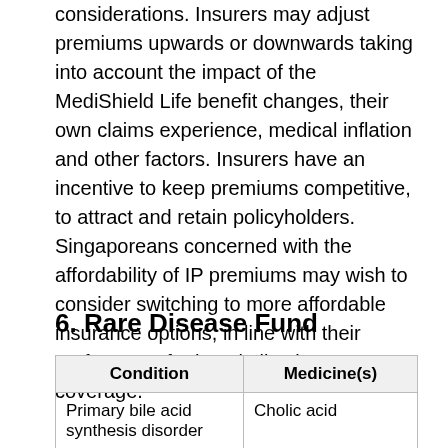considerations. Insurers may adjust premiums upwards or downwards taking into account the impact of the MediShield Life benefit changes, their own claims experience, medical inflation and other factors. Insurers have an incentive to keep premiums competitive, to attract and retain policyholders. Singaporeans concerned with the affordability of IP premiums may wish to consider switching to more affordable insurance options, in line with their preferences for hospitalisation coverage."
6. Rare Disease Fund
| Condition | Medicine(s) |
| --- | --- |
| Primary bile acid synthesis disorder | Cholic acid |
| Gaucher disease (Type 1 or 3) | Imiglucerase (Cerezyme)
Velaglucerase alfa (VPRIV) |